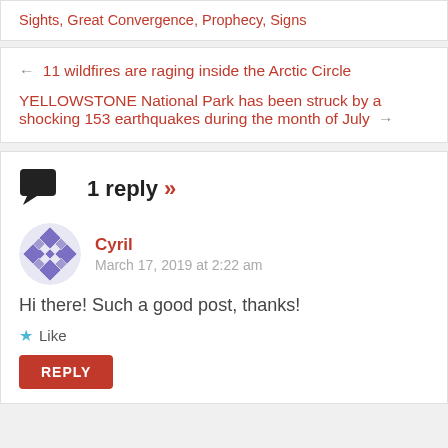Sights, Great Convergence, Prophecy, Signs
← 11 wildfires are raging inside the Arctic Circle
YELLOWSTONE National Park has been struck by a shocking 153 earthquakes during the month of July →
1 reply »
Cyril
March 17, 2019 at 2:22 am
Hi there! Such a good post, thanks!
Like
REPLY